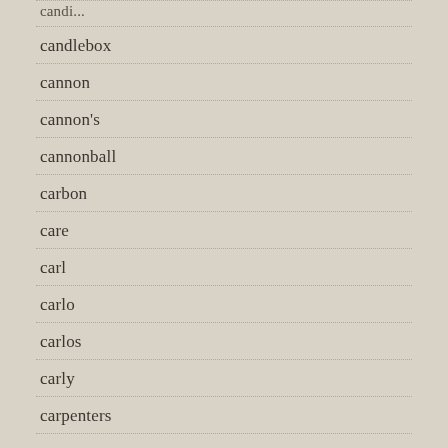candlebox
cannon
cannon's
cannonball
carbon
care
carl
carlo
carlos
carly
carpenters
cars
case
casiopea
castlevania